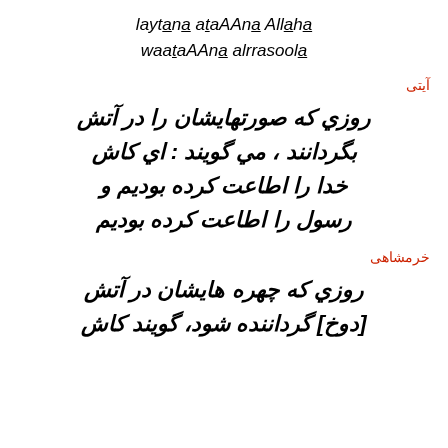laytana ataAAna Allaha waataAAna alrrasoola
آيتى
روزي كه صورتهايشان را در آتش بگردانند ، مي گويند : اي كاش خدا را اطاعت كرده بوديم و رسول را اطاعت كرده بوديم
خرمشاهى
روزي كه چهره هايشان در آتش [دوخ] گرداننده شود، گويند كاش